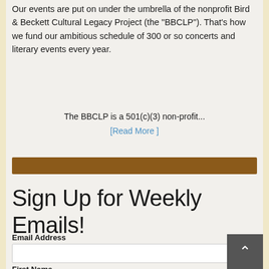Our events are put on under the umbrella of the nonprofit Bird & Beckett Cultural Legacy Project (the "BBCLP"). That's how we fund our ambitious schedule of 300 or so concerts and literary events every year.
The BBCLP is a 501(c)(3) non-profit...
[Read More ]
[Figure (other): Brown horizontal decorative bar]
Sign Up for Weekly Emails!
Email Address
First Name